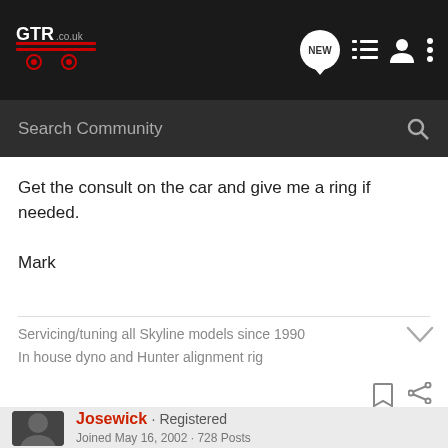[Figure (logo): GTR.co.uk forum logo in top navigation bar]
Search Community
Get the consult on the car and give me a ring if needed.
Mark
Servicing/tuning all Skyline models since 1990
In house dyno and Hunter alignment rig
Josewick · Registered
Joined May 16, 2002 · 728 Posts